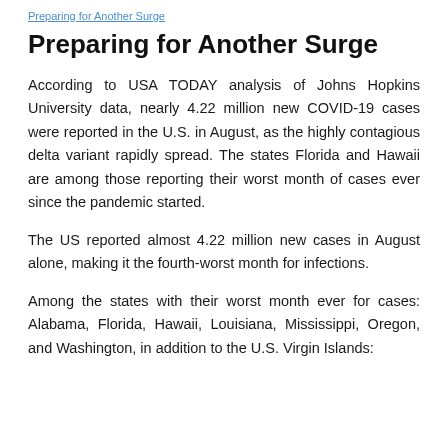Preparing for Another Surge
Preparing for Another Surge
According to USA TODAY analysis of Johns Hopkins University data, nearly 4.22 million new COVID-19 cases were reported in the U.S. in August, as the highly contagious delta variant rapidly spread. The states Florida and Hawaii are among those reporting their worst month of cases ever since the pandemic started.
The US reported almost 4.22 million new cases in August alone, making it the fourth-worst month for infections.
Among the states with their worst month ever for cases: Alabama, Florida, Hawaii, Louisiana, Mississippi, Oregon, and Washington, in addition to the U.S. Virgin Islands: